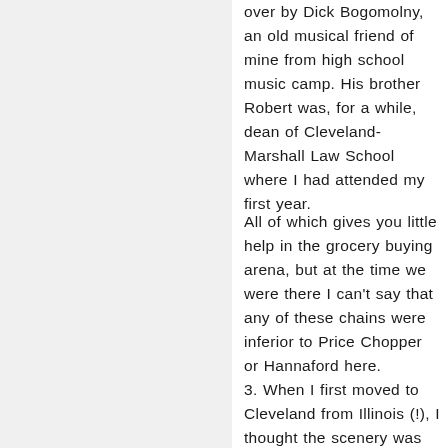over by Dick Bogomolny, an old musical friend of mine from high school music camp. His brother Robert was, for a while, dean of Cleveland-Marshall Law School where I had attended my first year.
All of which gives you little help in the grocery buying arena, but at the time we were there I can't say that any of these chains were inferior to Price Chopper or Hannaford here.
3. When I first moved to Cleveland from Illinois (!), I thought the scenery was spectacular. Particularly Cedar Hill... was it?